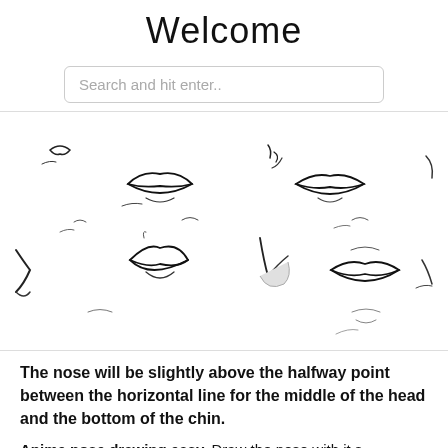Welcome
[Figure (screenshot): Search bar with placeholder text 'Search and hit enter..']
[Figure (illustration): A grid of pencil-sketch drawings of anime-style noses and mouths/lips from various angles, black and white, on white background]
The nose will be slightly above the halfway point between the horizontal line for the middle of the head and the bottom of the chin.
Anime nose drawing easy. Draw the nose with it s